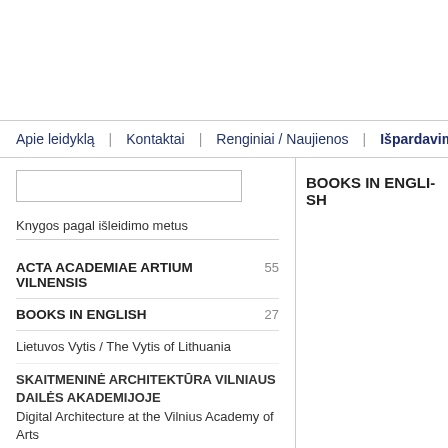Apie leidyklą | Kontaktai | Renginiai / Naujienos | Išpardavimas | Kr
Knygos pagal išleidimo metus
ACTA ACADEMIAE ARTIUM VILNENSIS 55
BOOKS IN ENGLISH 27
Lietuvos Vytis / The Vytis of Lithuania
SKAITMENINĖ ARCHITEKTŪRA VILNIAUS DAILĖS AKADEMIJOJE
Digital Architecture at the Vilnius Academy of Arts
Vilniaus paminklai kaitos istorija / Vilnius Monuments a Story of Change
Tourists Like Us: Critical Tourism and Contemporary
BOOKS IN ENGLISH